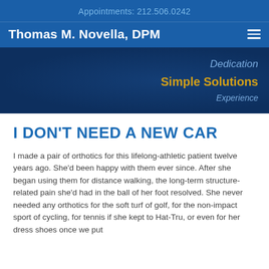Appointments: 212.506.0242
Thomas M. Novella, DPM
[Figure (other): Hero banner with taglines: Dedication, Simple Solutions, Experience on dark blue background]
I DON'T NEED A NEW CAR
I made a pair of orthotics for this lifelong-athletic patient twelve years ago. She'd been happy with them ever since. After she began using them for distance walking, the long-term structure-related pain she'd had in the ball of her foot resolved. She never needed any orthotics for the soft turf of golf, for the non-impact sport of cycling, for tennis if she kept to Hat-Tru, or even for her dress shoes once we put